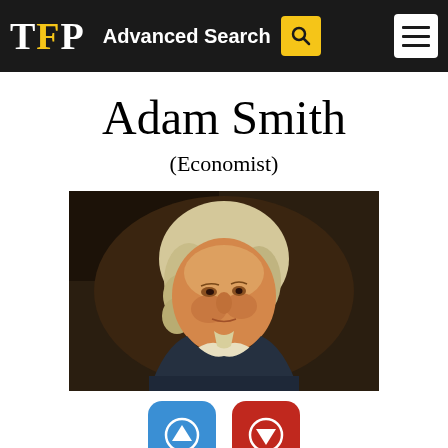TFP  Advanced Search
Adam Smith
(Economist)
[Figure (photo): Oil portrait painting of Adam Smith, 18th-century economist, depicted in three-quarter view wearing a dark coat with white collar, with white powdered wig, against a dark background.]
[Figure (other): Two rounded square buttons: a blue button with an upward arrow icon, and a red button with a downward arrow icon.]